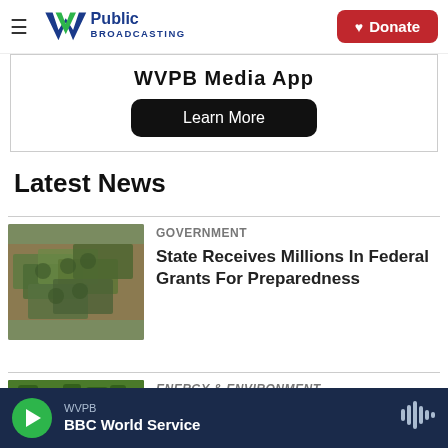WVPB Public Broadcasting | Donate
WVPB Media App
Learn More
Latest News
[Figure (photo): Pile of US hundred dollar bills]
Government
State Receives Millions In Federal Grants For Preparedness
[Figure (photo): Green forest or vegetation aerial view]
Energy & Environment
WVPB BBC World Service